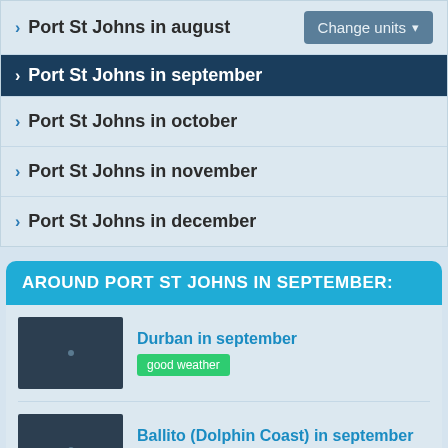Port St Johns in august
Port St Johns in september
Port St Johns in october
Port St Johns in november
Port St Johns in december
AROUND PORT ST JOHNS IN SEPTEMBER:
Durban in september
good weather
Ballito (Dolphin Coast) in september
good weather